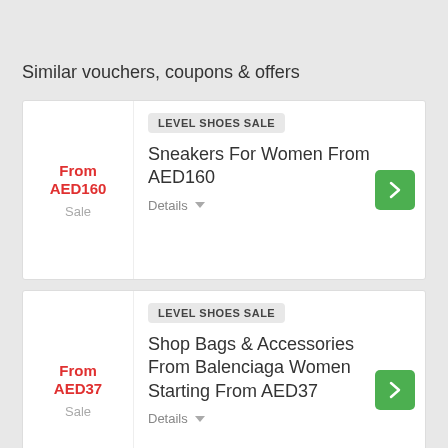Similar vouchers, coupons & offers
From AED160
Sale
LEVEL SHOES SALE
Sneakers For Women From AED160
Details
From AED37
Sale
LEVEL SHOES SALE
Shop Bags & Accessories From Balenciaga Women Starting From AED37
Details